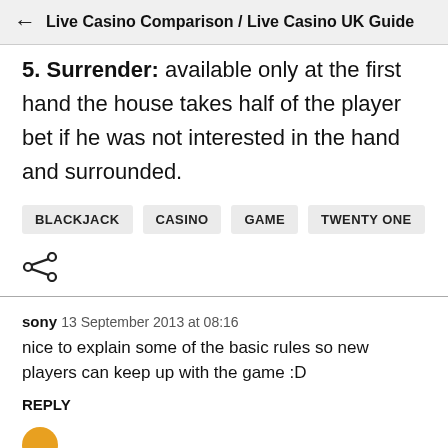Live Casino Comparison / Live Casino UK Guide
5. Surrender: available only at the first hand the house takes half of the player bet if he was not interested in the hand and surrounded.
BLACKJACK  CASINO  GAME  TWENTY ONE
sony  13 September 2013 at 08:16
nice to explain some of the basic rules so new players can keep up with the game :D
REPLY